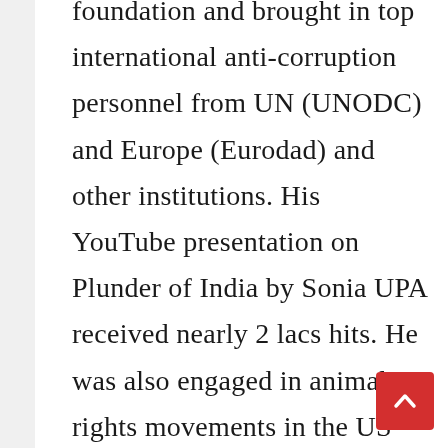foundation and brought in top international anti-corruption personnel from UN (UNODC) and Europe (Eurodad) and other institutions. His YouTube presentation on Plunder of India by Sonia UPA received nearly 2 lacs hits. He was also engaged in animal rights movements in the US for health, environment, and compassion. He received his bachelors from IIT Chennai with graduate degrees in US and is pursuing a career in Telecom in the US. He is a conservative and proud member